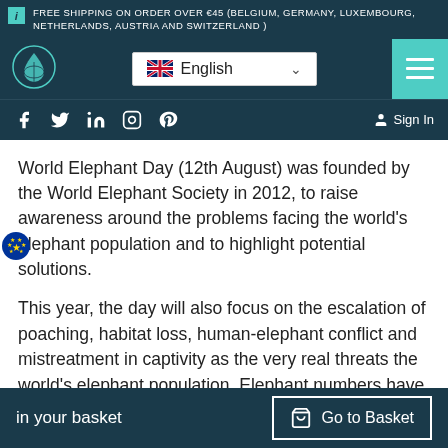FREE SHIPPING ON ORDER OVER €45 (BELGIUM, GERMANY, LUXEMBOURG, NETHERLANDS, AUSTRIA AND SWITZERLAND )
[Figure (screenshot): Navigation bar with logo (water drop with globe), English language selector with UK flag and dropdown chevron, and teal hamburger menu button]
[Figure (screenshot): Social media icons bar: Facebook, Twitter, LinkedIn, Instagram, Pinterest, and Sign In link on dark navy background]
World Elephant Day (12th August) was founded by the World Elephant Society in 2012, to raise awareness around the problems facing the world's elephant population and to highlight potential solutions.
This year, the day will also focus on the escalation of poaching, habitat loss, human-elephant conflict and mistreatment in captivity as the very real threats the world's elephant population. Elephant numbers have dropped by 62% over the last decade, and they could be
in your basket    Go to Basket